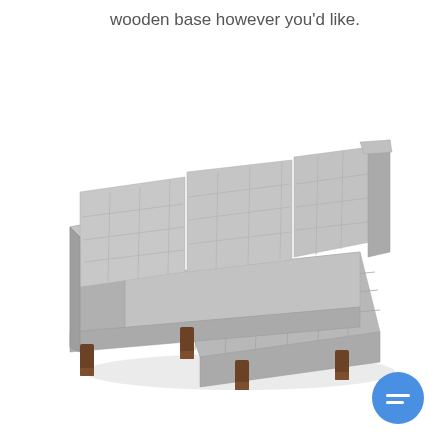wooden base however you'd like.
[Figure (photo): Gray tufted sectional sofa with chaise lounge and dark walnut wooden legs, photographed from a three-quarter angle on a white background.]
[Figure (other): Blue circular chat/messaging button icon with white speech bubble lines.]